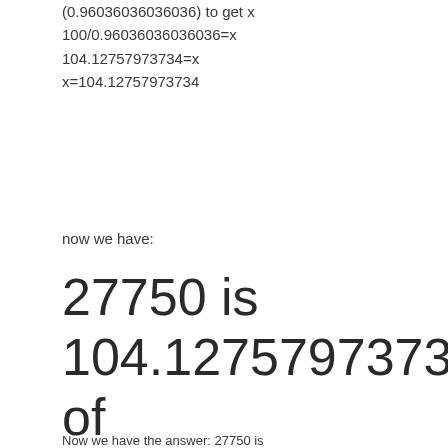now we have:
27750 is 104.12757973734% of 26650